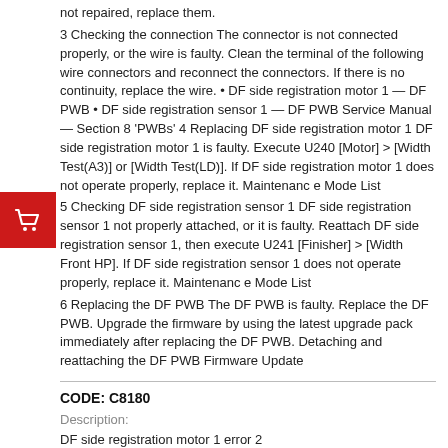not repaired, replace them.
3 Checking the connection The connector is not connected properly, or the wire is faulty. Clean the terminal of the following wire connectors and reconnect the connectors. If there is no continuity, replace the wire. • DF side registration motor 1 — DF PWB • DF side registration sensor 1 — DF PWB Service Manual — Section 8 'PWBs' 4 Replacing DF side registration motor 1 DF side registration motor 1 is faulty. Execute U240 [Motor] > [Width Test(A3)] or [Width Test(LD)]. If DF side registration motor 1 does not operate properly, replace it. Maintenanc e Mode List
5 Checking DF side registration sensor 1 DF side registration sensor 1 not properly attached, or it is faulty. Reattach DF side registration sensor 1, then execute U241 [Finisher] > [Width Front HP]. If DF side registration sensor 1 does not operate properly, replace it. Maintenanc e Mode List
6 Replacing the DF PWB The DF PWB is faulty. Replace the DF PWB. Upgrade the firmware by using the latest upgrade pack immediately after replacing the DF PWB. Detaching and reattaching the DF PWB Firmware Update
CODE: C8180
Description:
DF side registration motor 1 error 2
Object: 1000-sheet finisher, 4000-sheet finisher, Inner finisher
Causes: J6810/J6811/J6812 (Front DF side registration jam) was